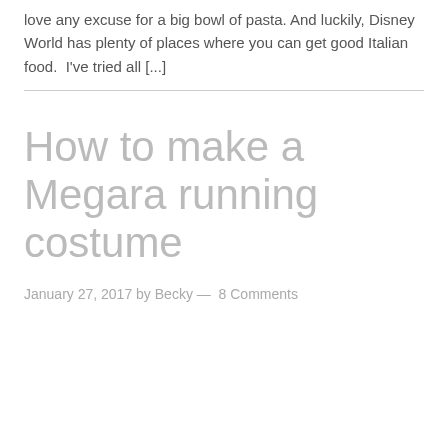love any excuse for a big bowl of pasta. And luckily, Disney World has plenty of places where you can get good Italian food.  I've tried all [...]
How to make a Megara running costume
January 27, 2017 by Becky — 8 Comments